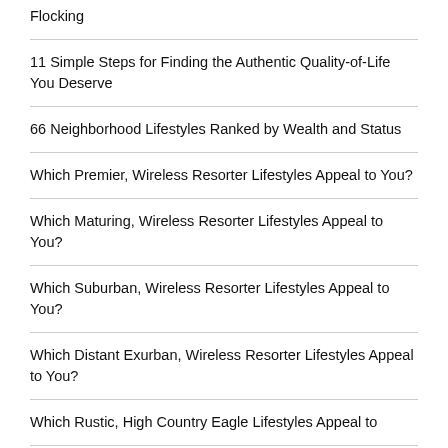Flocking
11 Simple Steps for Finding the Authentic Quality-of-Life You Deserve
66 Neighborhood Lifestyles Ranked by Wealth and Status
Which Premier, Wireless Resorter Lifestyles Appeal to You?
Which Maturing, Wireless Resorter Lifestyles Appeal to You?
Which Suburban, Wireless Resorter Lifestyles Appeal to You?
Which Distant Exurban, Wireless Resorter Lifestyles Appeal to You?
Which Rustic, High Country Eagle Lifestyles Appeal to